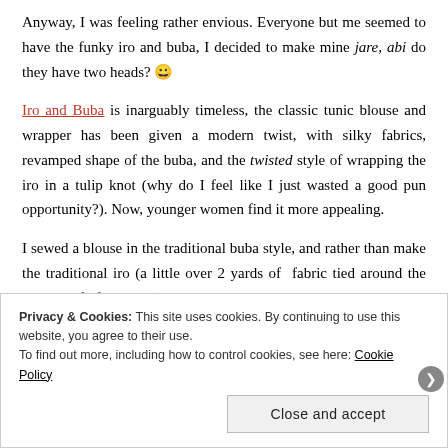Anyway, I was feeling rather envious. Everyone but me seemed to have the funky iro and buba, I decided to make mine jare, abi do they have two heads? 😀
Iro and Buba is inarguably timeless, the classic tunic blouse and wrapper has been given a modern twist, with silky fabrics, revamped shape of the buba, and the twisted style of wrapping the iro in a tulip knot (why do I feel like I just wasted a good pun opportunity?). Now, younger women find it more appealing.
I sewed a blouse in the traditional buba style, and rather than make the traditional iro (a little over 2 yards of fabric tied around the lower half of the body), which technically is a wrap around skirt, I chose to make a pencil skirt.
Privacy & Cookies: This site uses cookies. By continuing to use this website, you agree to their use. To find out more, including how to control cookies, see here: Cookie Policy
Close and accept